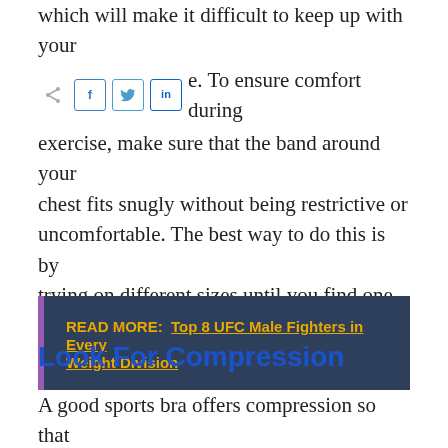which will make it difficult to keep up with your [social share icons] e. To ensure comfort during exercise, make sure that the band around your chest fits snugly without being restrictive or uncomfortable. The best way to do this is by trying on different sizes until you find one that's perfect for your body type and shape.
READ MORE: Top 8 UFC Male Fighters in Every Weight Division
Look For Compression
A good sports bra offers compression so that breasts stay put during exercise. This is